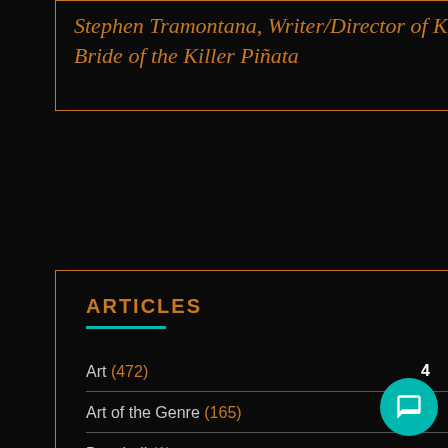Stephen Tramontana, Writer/Director of Killer Piñata and Bride of the Killer Piñata
ARTICLES
Art (472)
Art of the Genre (165)
Baseball (1)
BG Staff (945)
Black Gate Goes to Summer Movies (36)